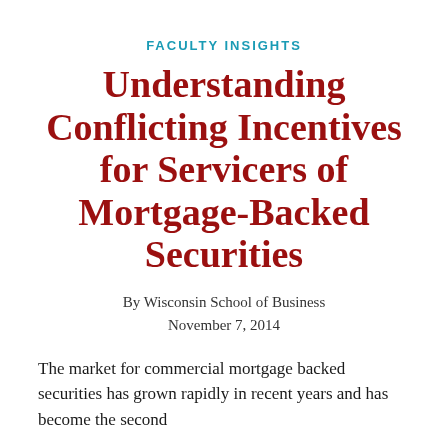FACULTY INSIGHTS
Understanding Conflicting Incentives for Servicers of Mortgage-Backed Securities
By Wisconsin School of Business
November 7, 2014
The market for commercial mortgage backed securities has grown rapidly in recent years and has become the second